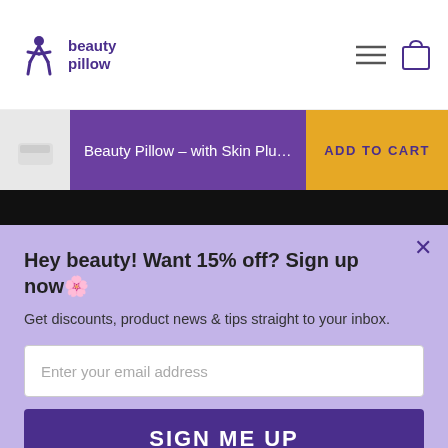[Figure (logo): Beauty Pillow logo with purple figure icon and 'beauty pillow' text]
[Figure (other): Hamburger menu icon and shopping bag icon in top right]
Beauty Pillow – with Skin Plus Pill...
ADD TO CART
Hey beauty! Want 15% off? Sign up now🌸
Get discounts, product news & tips straight to your inbox.
Enter your email address
SIGN ME UP